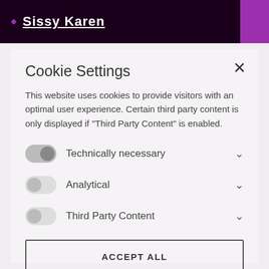• Sissy Karen
Cookie Settings
This website uses cookies to provide visitors with an optimal user experience. Certain third party content is only displayed if "Third Party Content" is enabled.
Technically necessary
Analytical
Third Party Content
ACCEPT ALL
SAVE
More information